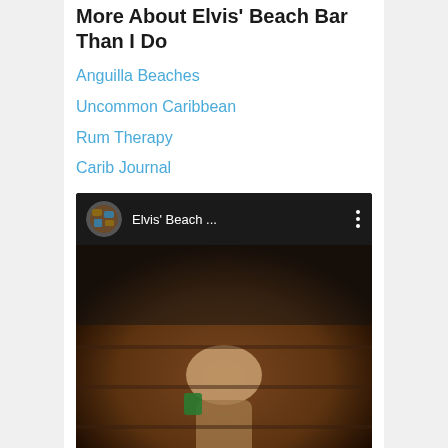More About Elvis' Beach Bar Than I Do
Anguilla Beaches
Uncommon Caribbean
Rum Therapy
Carib Journal
[Figure (screenshot): YouTube video embed showing 'Elvis' Beach ...' with a dark thumbnail featuring a person, circular avatar icon on the left, three-dot menu on the right]